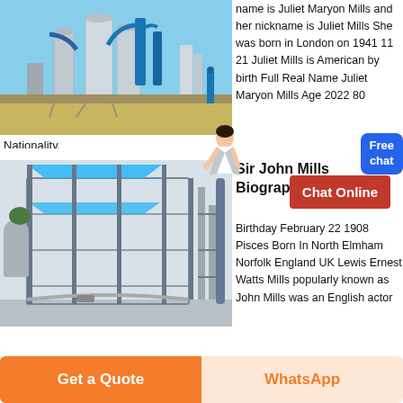[Figure (photo): Industrial facility with large metal silos, tanks, and blue pipes/structures outdoors under a blue sky]
name is Juliet Maryon Mills and her nickname is Juliet Mills She was born in London on 1941 11 21 Juliet Mills is American by birth Full Real Name Juliet Maryon Mills Age 2022 80
Nationality.
[Figure (illustration): Digital 3D render of a multi-story industrial or modular building structure with blue shade canopies and scaffolding]
Sir John Mills Biography
Birthday February 22 1908 Pisces Born In North Elmham Norfolk England UK Lewis Ernest Watts Mills popularly known as John Mills was an English actor
Get a Quote
WhatsApp